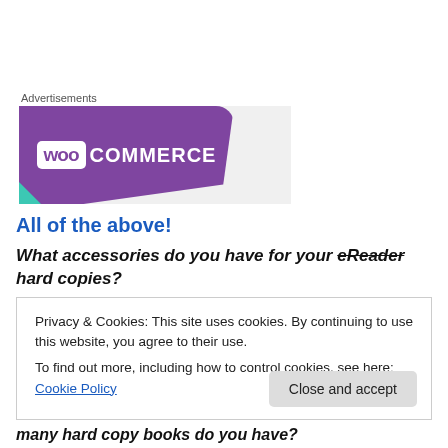Advertisements
[Figure (logo): WooCommerce advertisement banner with purple background and white logo text]
All of the above!
What accessories do you have for your eReader hard copies?
Privacy & Cookies: This site uses cookies. By continuing to use this website, you agree to their use.
To find out more, including how to control cookies, see here: Cookie Policy
Close and accept
many hard copy books do you have?